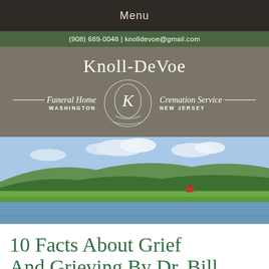Menu
(908) 689-0048 | knolldevoe@gmail.com
[Figure (logo): Knoll-DeVoe Funeral Home and Cremation Service logo with ornate K seal, Washington New Jersey]
[Figure (photo): Scenic landscape photograph showing a calm lake or river with green forested hills and blue sky with clouds]
10 Facts About Grief And Grieving By Dr. Bill